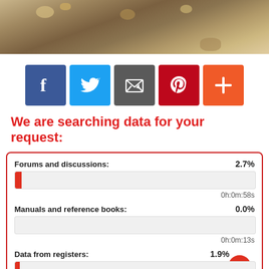[Figure (photo): Food photo showing items on a wooden cutting board, partially visible at top of page]
[Figure (infographic): Social sharing buttons: Facebook (blue), Twitter (light blue), Email (dark gray), Pinterest (red), Plus/Add (orange-red)]
We are searching data for your request:
Forums and discussions: 2.7%
Progress bar at ~2.7%
0h:0m:58s
Manuals and reference books: 0.0%
Progress bar at 0%
0h:0m:13s
Data from registers: 1.9%